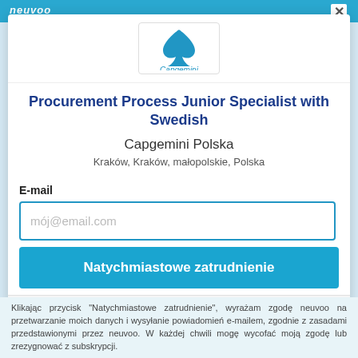neuvoo
[Figure (logo): Capgemini company logo — blue spade/leaf shape above text 'Capgemini']
Procurement Process Junior Specialist with Swedish
Capgemini Polska
Kraków, Kraków, małopolskie, Polska
E-mail
mój@email.com
Natychmiastowe zatrudnienie
nie, dziękujemy
Klikając przycisk "Natychmiastowe zatrudnienie", wyrażam zgodę neuvoo na przetwarzanie moich danych i wysyłanie powiadomień e-mailem, zgodnie z zasadami przedstawionymi przez neuvoo. W każdej chwili mogę wycofać moją zgodę lub zrezygnować z subskrypcji.